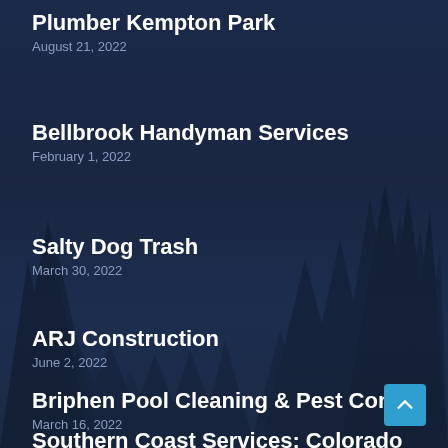Plumber Kempton Park
August 21, 2022
Bellbrook Handyman Services
February 1, 2022
Salty Dog Trash
March 30, 2022
ARJ Construction
June 2, 2022
Briphen Pool Cleaning & Pest Control
March 16, 2022
Southern Coast Services: Colorado